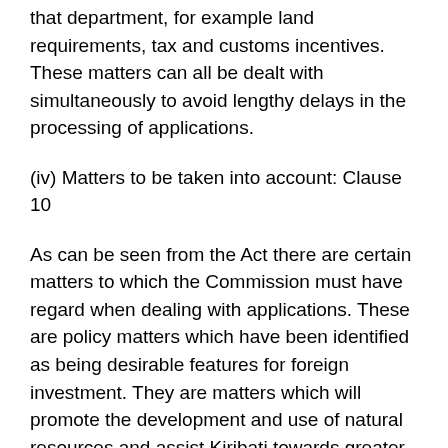that department, for example land requirements, tax and customs incentives. These matters can all be dealt with simultaneously to avoid lengthy delays in the processing of applications.
(iv) Matters to be taken into account: Clause 10
As can be seen from the Act there are certain matters to which the Commission must have regard when dealing with applications. These are policy matters which have been identified as being desirable features for foreign investment. They are matters which will promote the development and use of natural resources and assist Kiribati towards greater self reliance.
(v) Incentives: Clause 11(4)
The Commission or Cabinet has power to grant tax